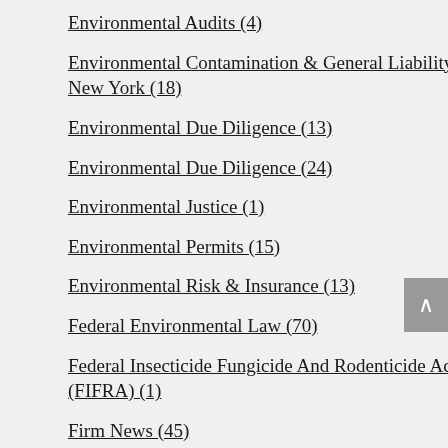Environmental Audits (4)
Environmental Contamination & General Liability In New York (18)
Environmental Due Diligence (13)
Environmental Due Diligence (24)
Environmental Justice (1)
Environmental Permits (15)
Environmental Risk & Insurance (13)
Federal Environmental Law (70)
Federal Insecticide Fungicide And Rodenticide Act (FIFRA) (1)
Firm News (45)
Fracking (18)